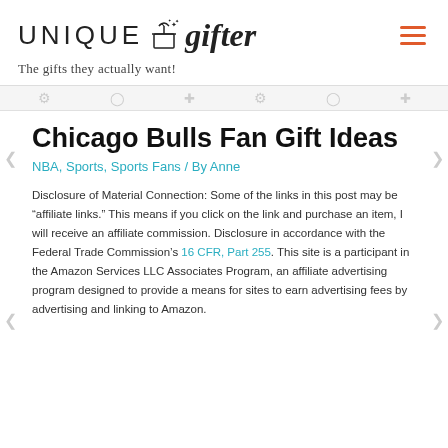UNIQUE gifter — The gifts they actually want!
Chicago Bulls Fan Gift Ideas
NBA, Sports, Sports Fans / By Anne
Disclosure of Material Connection: Some of the links in this post may be "affiliate links." This means if you click on the link and purchase an item, I will receive an affiliate commission. Disclosure in accordance with the Federal Trade Commission's 16 CFR, Part 255. This site is a participant in the Amazon Services LLC Associates Program, an affiliate advertising program designed to provide a means for sites to earn advertising fees by advertising and linking to Amazon.